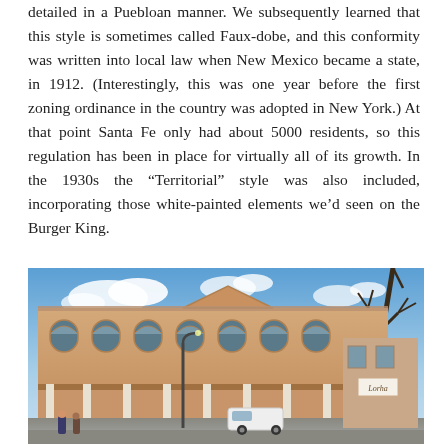detailed in a Puebloan manner. We subsequently learned that this style is sometimes called Faux-dobe, and this conformity was written into local law when New Mexico became a state, in 1912. (Interestingly, this was one year before the first zoning ordinance in the country was adopted in New York.) At that point Santa Fe only had about 5000 residents, so this regulation has been in place for virtually all of its growth. In the 1930s the “Territorial” style was also included, incorporating those white-painted elements we’d seen on the Burger King.
[Figure (photo): Street-level photograph of a two-story historic commercial building in Santa Fe with arched windows and a covered colonnade at street level. Blue sky with scattered clouds in the background, bare tree branches visible on the right, and parked cars and pedestrians at street level.]